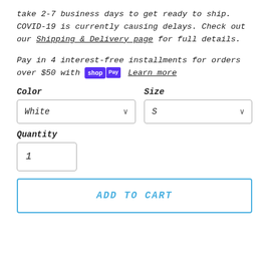take 2-7 business days to get ready to ship. COVID-19 is currently causing delays. Check out our Shipping & Delivery page for full details.
Pay in 4 interest-free installments for orders over $50 with shop Pay  Learn more
Color
Size
White
S
Quantity
1
ADD TO CART